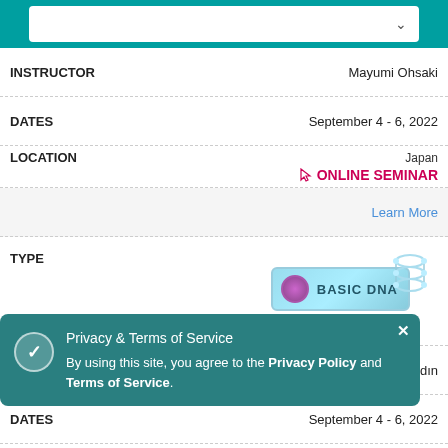| Field | Value |
| --- | --- |
| INSTRUCTOR | Mayumi Ohsaki |
| DATES | September 4 - 6, 2022 |
| LOCATION | Japan / ONLINE SEMINAR |
|  | Learn More |
| TYPE | BASIC DNA |
| INSTRUCTOR | Ceren Erevikli Şenaydın |
| DATES | September 4 - 6, 2022 |
| LOCATION | Turkey / ONLINE SEMINAR |
|  | Learn More |
Privacy & Terms of Service
By using this site, you agree to the Privacy Policy and Terms of Service.